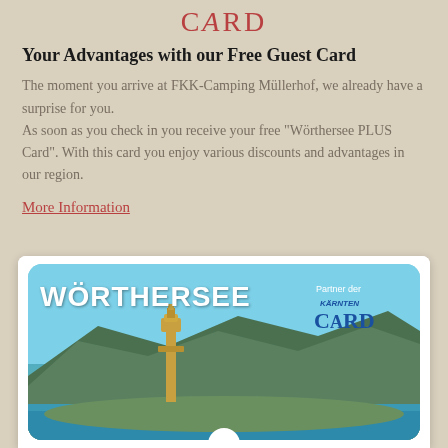CARD
Your Advantages with our Free Guest Card
The moment you arrive at FKK-Camping Müllerhof, we already have a surprise for you. As soon as you check in you receive your free "Wörthersee PLUS Card". With this card you enjoy various discounts and advantages in our region.
More Information
[Figure (photo): Wörthersee PLUS Card showing an aerial lake view with a tower (Pyramidenkogel), mountains in background, and Kärnten Card partner logo in top-right corner. Card has teal/turquoise gradient background with 'WÖRTHERSEE' text in white.]